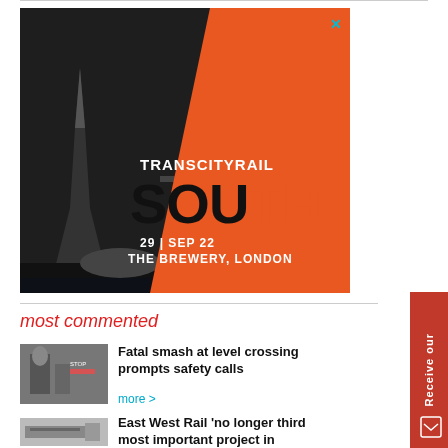[Figure (illustration): TransCityRail South advertisement banner featuring a black and white photo of London Tower Bridge and The Shard with an orange diagonal overlay. Text reads TRANSCITYRAIL SOUTH 29 SEP 22 THE BREWERY, LONDON with TCR logo in top right.]
most commented
[Figure (photo): Photo of a statue at a level crossing with warning signs]
Fatal smash at level crossing prompts safety calls
more >
[Figure (photo): Photo related to East West Rail article]
East West Rail 'no longer third most important project in country'